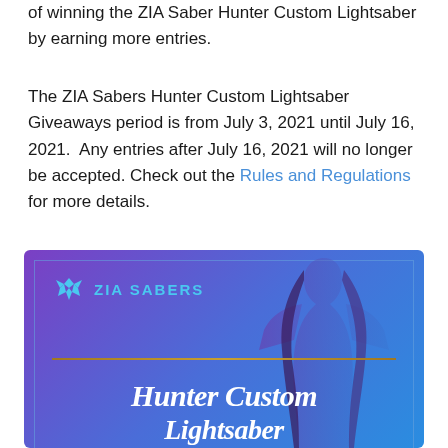of winning the ZIA Saber Hunter Custom Lightsaber by earning more entries.
The ZIA Sabers Hunter Custom Lightsaber Giveaways period is from July 3, 2021 until July 16, 2021.  Any entries after July 16, 2021 will no longer be accepted. Check out the Rules and Regulations for more details.
[Figure (illustration): ZIA Sabers promotional image with purple-to-blue gradient background, woman silhouette, ZIA SABERS logo with icon in top left, gold horizontal divider line, and italic script text reading 'Hunter Custom Lightsaber']